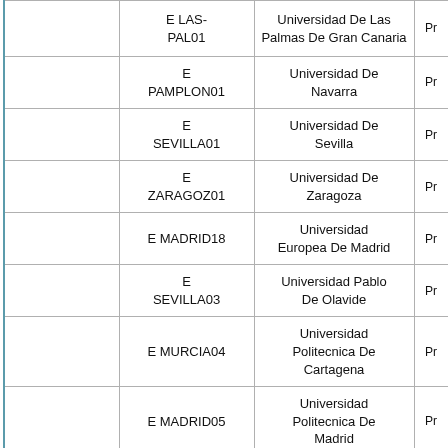|  | Code | University |  |
| --- | --- | --- | --- |
|  | E LAS-PAL01 | Universidad De Las Palmas De Gran Canaria | Pr |
|  | E PAMPLON01 | Universidad De Navarra | Pr |
|  | E SEVILLA01 | Universidad De Sevilla | Pr |
|  | E ZARAGOZ01 | Universidad De Zaragoza | Pr |
|  | E MADRID18 | Universidad Europea De Madrid | Pr |
|  | E SEVILLA03 | Universidad Pablo De Olavide | Pr |
|  | E MURCIA04 | Universidad Politecnica De Cartagena | Pr |
|  | E MADRID05 | Universidad Politecnica De Madrid | Pr |
|  | E MADRID02 | Universidad Pontificia Comillas | Pr |
|  | E MADRID26 | Universidad Rey Juan Carlos | Pr |
|  | E BARCELO03 | Universitat Politecnica De Catalunya | Pr |
|  | E VALENCI02 | Universitat Politecnica De Valencia | Pr |
|  | E ... | Universitat | Pr |